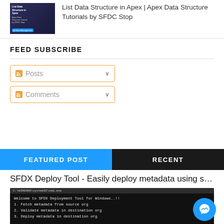[Figure (screenshot): Thumbnail image of a tutorial about Data Management in Apex]
List Data Structure in Apex | Apex Data Structure Tutorials by SFDC Stop
FEED SUBSCRIBE
Posts
Comments
FEATURED POST
RECENT
SFDX Deploy Tool - Easily deploy metadata using sfdx cli
[Figure (screenshot): Terminal window showing SFDX Deployment Tool for Windows with options: Fetch metadata from source org, Validate metadata in destination org, Deploy metadata in destination org]